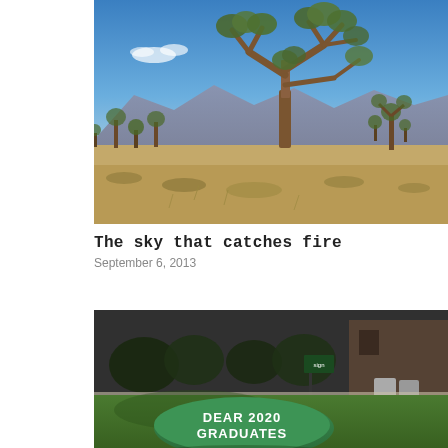[Figure (photo): Desert landscape with a large Joshua tree in the foreground under a clear blue sky, with rocky mountains in the background and dry scrubland.]
The sky that catches fire
September 6, 2013
[Figure (photo): Outdoor campus or park scene with a large green-painted rock in the foreground reading 'DEAR 2020 GRADUATES', green lawn, bushes, a sign post, and a wooden building in the background.]